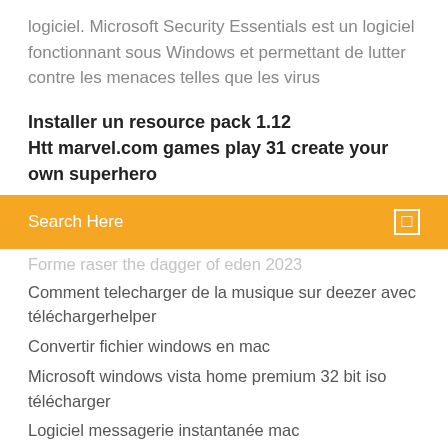logiciel. Microsoft Security Essentials est un logiciel fonctionnant sous Windows et permettant de lutter contre les menaces telles que les virus
Installer un resource pack 1.12
Htt marvel.com games play 31 create your own superhero
[Figure (screenshot): Search bar with orange background and search icon]
Forme raser the dagger of eden 2023
Comment telecharger de la musique sur deezer avec téléchargerhelper
Convertir fichier windows en mac
Microsoft windows vista home premium 32 bit iso télécharger
Logiciel messagerie instantanée mac
Télécharger moi moche et méchant jeux pc windows 7
Télécharger coran gratuit pour mobile
Gang beast pc télécharger mega
Jeux de simulation de conduite gratuit pc